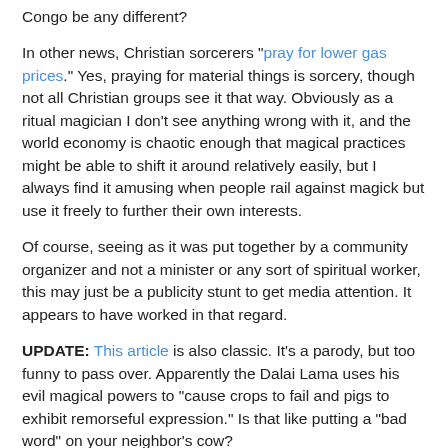Congo be any different?
In other news, Christian sorcerers "pray for lower gas prices." Yes, praying for material things is sorcery, though not all Christian groups see it that way. Obviously as a ritual magician I don't see anything wrong with it, and the world economy is chaotic enough that magical practices might be able to shift it around relatively easily, but I always find it amusing when people rail against magick but use it freely to further their own interests.
Of course, seeing as it was put together by a community organizer and not a minister or any sort of spiritual worker, this may just be a publicity stunt to get media attention. It appears to have worked in that regard.
UPDATE: This article is also classic. It's a parody, but too funny to pass over. Apparently the Dalai Lama uses his evil magical powers to "cause crops to fail and pigs to exhibit remorseful expression." Is that like putting a "bad word" on your neighbor's cow?